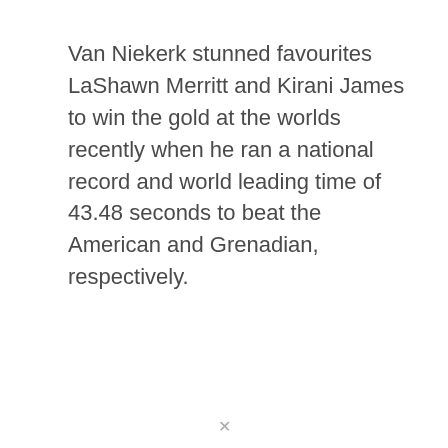Van Niekerk stunned favourites LaShawn Merritt and Kirani James to win the gold at the worlds recently when he ran a national record and world leading time of 43.48 seconds to beat the American and Grenadian, respectively.